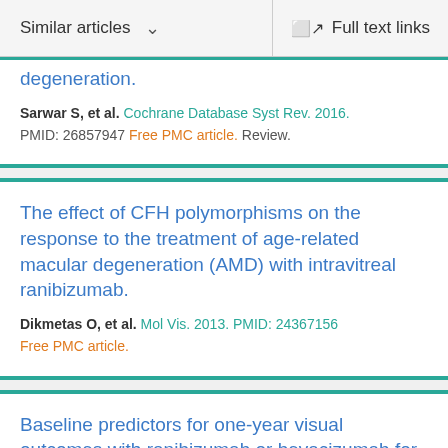Similar articles   Full text links
degeneration.
Sarwar S, et al. Cochrane Database Syst Rev. 2016. PMID: 26857947 Free PMC article. Review.
The effect of CFH polymorphisms on the response to the treatment of age-related macular degeneration (AMD) with intravitreal ranibizumab.
Dikmetas O, et al. Mol Vis. 2013. PMID: 24367156 Free PMC article.
Baseline predictors for one-year visual outcomes with ranibizumab or bevacizumab for neovascular age-related macular degeneration.
Ying GS, et al. Ophthalmology. 2013. PMID: 23047...